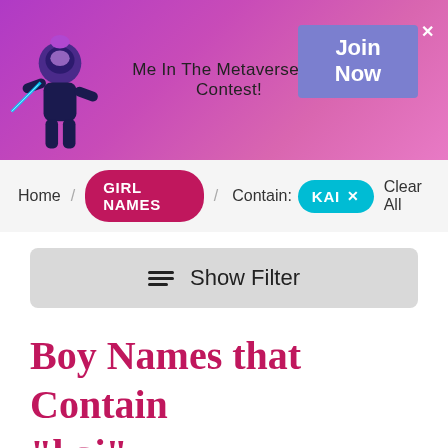[Figure (illustration): Website banner with purple/pink gradient background, animated character on left, text 'Me In The Metaverse Art Contest!' in center, and blue-purple 'Join Now' button with X close icon on right.]
Home / GIRL NAMES / Contain: KAI × Clear All
≡ Show Filter
Boy Names that Contain "kai"